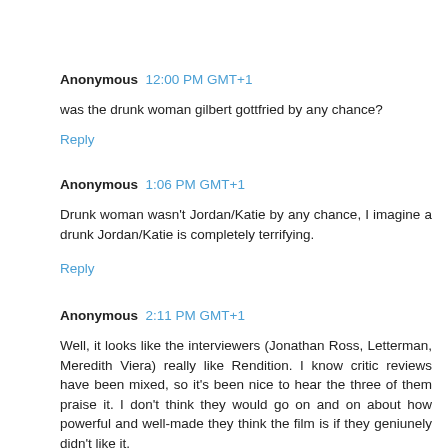Anonymous 12:00 PM GMT+1
was the drunk woman gilbert gottfried by any chance?
Reply
Anonymous 1:06 PM GMT+1
Drunk woman wasn't Jordan/Katie by any chance, I imagine a drunk Jordan/Katie is completely terrifying.
Reply
Anonymous 2:11 PM GMT+1
Well, it looks like the interviewers (Jonathan Ross, Letterman, Meredith Viera) really like Rendition. I know critic reviews have been mixed, so it's been nice to hear the three of them praise it. I don't think they would go on and on about how powerful and well-made they think the film is if they geniunely didn't like it.